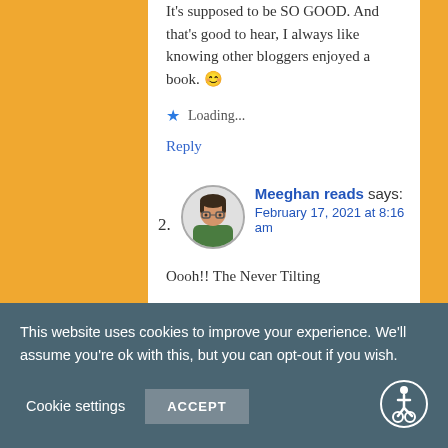It's supposed to be SO GOOD. And that's good to hear, I always like knowing other bloggers enjoyed a book. 😊
Loading...
Reply
2. Meeghan reads says:
February 17, 2021 at 8:16 am
Oooh!! The Never Tilting
This website uses cookies to improve your experience. We'll assume you're ok with this, but you can opt-out if you wish.
Cookie settings
ACCEPT